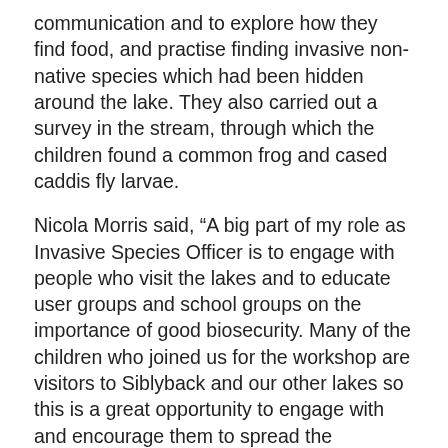communication and to explore how they find food, and practise finding invasive non-native species which had been hidden around the lake. They also carried out a survey in the stream, through which the children found a common frog and cased caddis fly larvae.
Nicola Morris said, “A big part of my role as Invasive Species Officer is to engage with people who visit the lakes and to educate user groups and school groups on the importance of good biosecurity. Many of the children who joined us for the workshop are visitors to Siblyback and our other lakes so this is a great opportunity to engage with and encourage them to spread the message about the impacts of invasive non-native species and what everyone can do to help prevent their spread. Conservation and wildlife education has the greatest impact when it is taught at a young age and these children really enjoyed their visit and went away with lots of new knowledge which will stay with them.”Policy. You can change your cookie settings at any time by clicking “Preferences.”